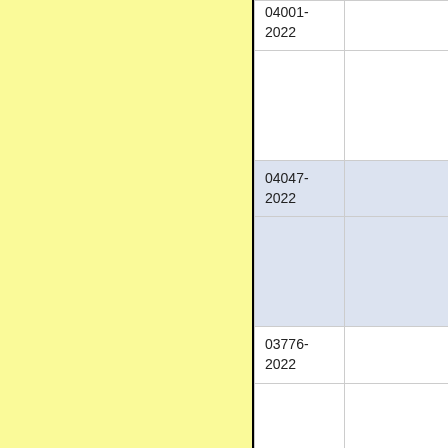| Case Number | Details |
| --- | --- |
| 04001-2022 |  |
| 04047-2022 |  |
| 03776-2022 |  |
| 03885-2022 |  |
| 03930-2022 |  |